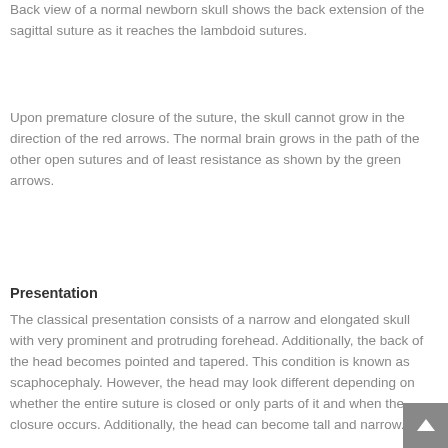Back view of a normal newborn skull shows the back extension of the sagittal suture as it reaches the lambdoid sutures.
Upon premature closure of the suture, the skull cannot grow in the direction of the red arrows. The normal brain grows in the path of the other open sutures and of least resistance as shown by the green arrows.
Presentation
The classical presentation consists of a narrow and elongated skull with very prominent and protruding forehead. Additionally, the back of the head becomes pointed and tapered. This condition is known as scaphocephaly. However, the head may look different depending on whether the entire suture is closed or only parts of it and when the closure occurs. Additionally, the head can become tall and narrow.